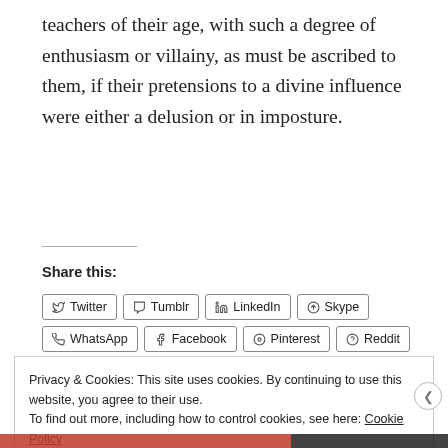teachers of their age, with such a degree of enthusiasm or villainy, as must be ascribed to them, if their pretensions to a divine influence were either a delusion or in imposture.
Share this:
Twitter Tumblr LinkedIn Skype WhatsApp Facebook Pinterest Reddit Pocket Telegram Print Email
Privacy & Cookies: This site uses cookies. By continuing to use this website, you agree to their use. To find out more, including how to control cookies, see here: Cookie Policy
Close and accept